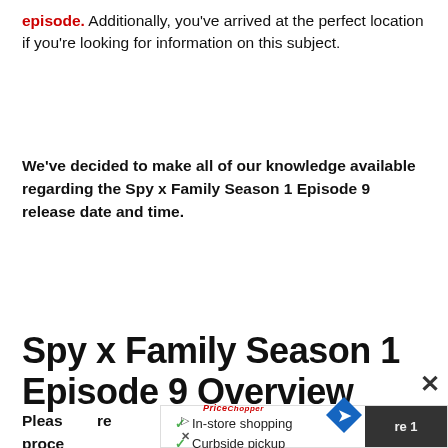episode. Additionally, you've arrived at the perfect location if you're looking for information on this subject.
We've decided to make all of our knowledge available regarding the Spy x Family Season 1 Episode 9 release date and time.
Spy x Family Season 1 Episode 9 Overview
Please... re proce... re 1 to you...